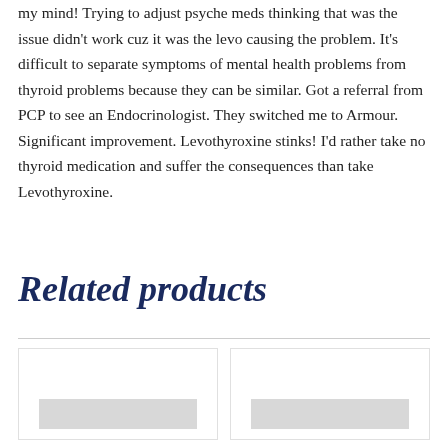my mind! Trying to adjust psyche meds thinking that was the issue didn't work cuz it was the levo causing the problem. It's difficult to separate symptoms of mental health problems from thyroid problems because they can be similar. Got a referral from PCP to see an Endocrinologist. They switched me to Armour. Significant improvement. Levothyroxine stinks! I'd rather take no thyroid medication and suffer the consequences than take Levothyroxine.
Related products
[Figure (other): Two product card images partially visible at bottom of page, showing medication/product thumbnails with grey placeholder boxes]